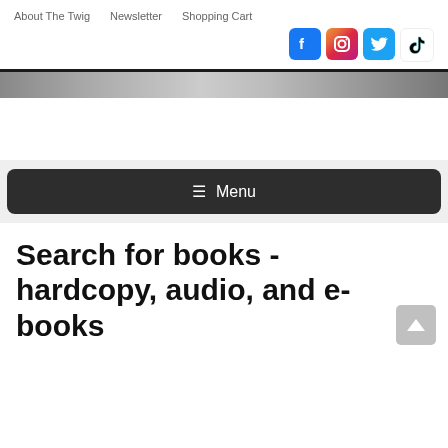About The Twig   Newsletter   Shopping Cart
[Figure (screenshot): Social media icons: Facebook, Instagram, Twitter, TikTok]
[Figure (photo): Partial banner/hero image visible at top, grayscale]
≡ Menu
Search for books - hardcopy, audio, and e-books